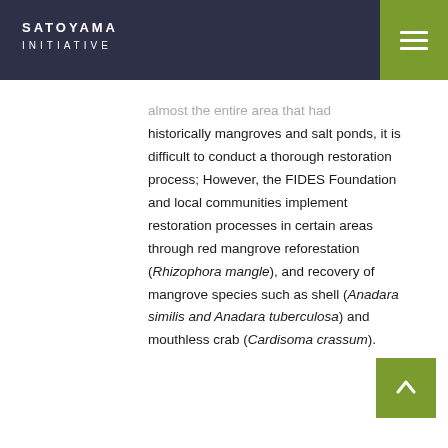SATOYAMA INITIATIVE
almost the entire area that had historically mangroves and salt ponds, it is difficult to conduct a thorough restoration process; However, the FIDES Foundation and local communities implement restoration processes in certain areas through red mangrove reforestation (Rhizophora mangle), and recovery of mangrove species such as shell (Anadara similis and Anadara tuberculosa) and mouthless crab (Cardisoma crassum).